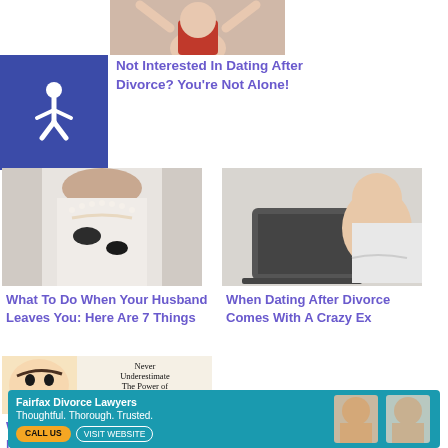[Figure (photo): Woman in red top with arms raised, partially cropped at top]
[Figure (illustration): Blue square accessibility/wheelchair icon]
Not Interested In Dating After Divorce? You're Not Alone!
[Figure (photo): Woman in white top with pearl necklace and dark nail polish, hand on chest]
What To Do When Your Husband Leaves You: Here Are 7 Things
[Figure (photo): Woman with long hair smiling behind a laptop computer]
When Dating After Divorce Comes With A Crazy Ex
[Figure (illustration): Retro cartoon woman laughing with text: Never Underestimate The Power of An Extremely Pissed Off Woman]
When You Betray Me, You Betray My Mom
[Figure (screenshot): Advertisement banner: Fairfax Divorce Lawyers Thoughtful. Thorough. Trusted. with CALL US and VISIT WEBSITE buttons, and photos of two men]